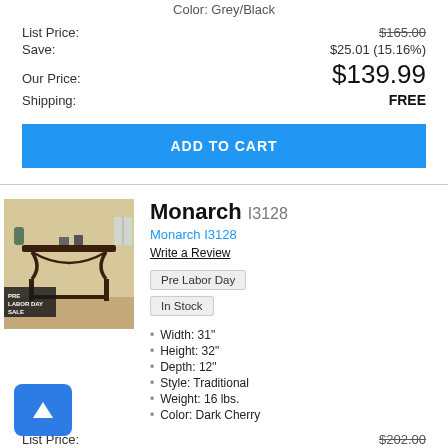Color: Grey/Black
List Price: $165.00
Save: $25.01 (15.16%)
Our Price: $139.99
Shipping: FREE
ADD TO CART
[Figure (photo): Monarch I3128 hall table in dark cherry wood with curved apron and lower shelf, shown in room setting with PRE LABOR DAY SALE badge]
Monarch I3128
Monarch I3128
Write a Review
Pre Labor Day
In Stock
Width: 31"
Height: 32"
Depth: 12"
Style: Traditional
Weight: 16 lbs.
Color: Dark Cherry
List Price: $202.00